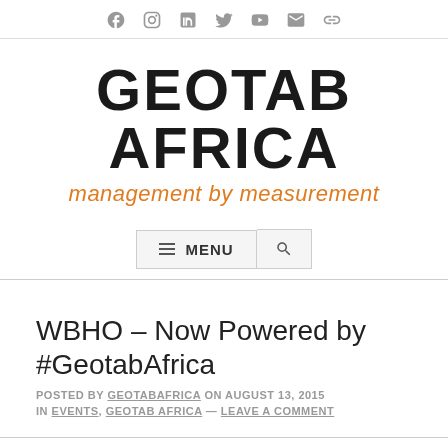Social icons: Facebook, Instagram, LinkedIn, Twitter, YouTube, Email, Link
GEOTAB AFRICA
management by measurement
≡ MENU 🔍
WBHO – Now Powered by #GeotabAfrica
POSTED BY GEOTABAFRICA ON AUGUST 13, 2015
IN EVENTS, GEOTAB AFRICA — LEAVE A COMMENT
#GeotabAfrica GEOTAB Devices Evolution